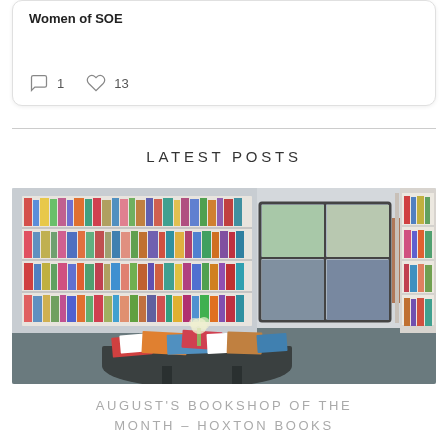Women of SOE
1 comment  13 likes
LATEST POSTS
[Figure (photo): Interior of a bookshop with shelves of books on the walls, a round table with books spread across it, and a large window in the background.]
AUGUST'S BOOKSHOP OF THE MONTH – HOXTON BOOKS